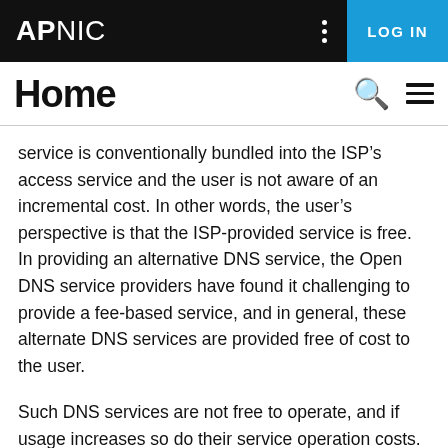APNIC | LOG IN
Home
service is conventionally bundled into the ISP’s access service and the user is not aware of an incremental cost. In other words, the user’s perspective is that the ISP-provided service is free. In providing an alternative DNS service, the Open DNS service providers have found it challenging to provide a fee-based service, and in general, these alternate DNS services are provided free of cost to the user.
Such DNS services are not free to operate, and if usage increases so do their service operation costs. Each provider of such free services needs to generate revenue in some manner, and the revenue problem is exacerbated the